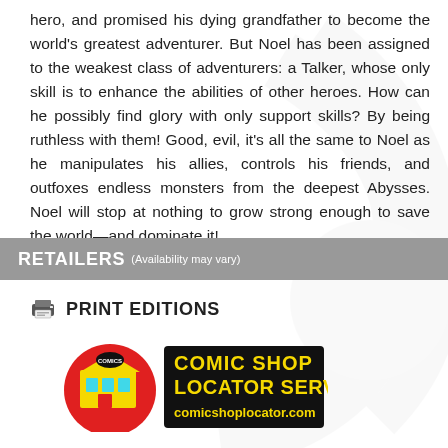hero, and promised his dying grandfather to become the world's greatest adventurer. But Noel has been assigned to the weakest class of adventurers: a Talker, whose only skill is to enhance the abilities of other heroes. How can he possibly find glory with only support skills? By being ruthless with them! Good, evil, it's all the same to Noel as he manipulates his allies, controls his friends, and outfoxes endless monsters from the deepest Abysses. Noel will stop at nothing to grow strong enough to save the world—and dominate it!
RETAILERS (Availability may vary)
PRINT EDITIONS
[Figure (logo): Comic Shop Locator Service logo with comic shop building illustration and text 'comicshoplocator.com']